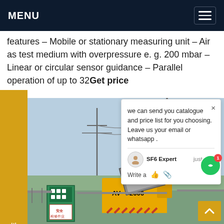MENU
features - Mobile or stationary measuring unit - Air as test medium with overpressure e. g. 200 mbar - Linear or circular sensor guidance - Parallel operation of up to 32Get price
[Figure (photo): Electrical substation with a crane truck (yellow service vehicle marked 'AV 2606') and high-voltage transmission line structures. Safety signs visible in Chinese characters. Clear sky background.]
we can send you catalogue and price list for you choosing.
Leave us your email or whatsapp .
SF6 Expert    just now
Write a